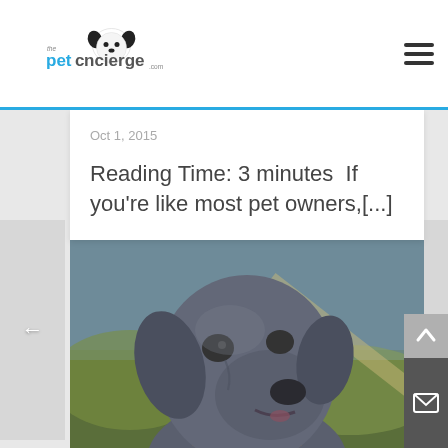the pet concierge .com
Oct 1, 2015
Reading Time: 3 minutes  If you’re like most pet owners,[...]
[Figure (photo): Close-up portrait of a large grey/blue Great Dane dog with a brown collar, looking slightly to the right, against a blurred outdoor green and blue background.]